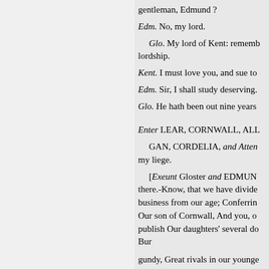gentleman, Edmund ?
Edm. No, my lord.
Glo. My lord of Kent: remem- lordship.
Kent. I must love you, and sue to
Edm. Sir, I shall study deserving.
Glo. He hath been out nine years
Enter LEAR, CORNWALL, ALL- GAN, CORDELIA, and Atten- my liege.
[Exeunt Gloster and EDMUN- there.-Know, that we have divide- business from our age; Conferrin- Our son of Cornwall, And you, o- publish Our daughters' several do- Bur
gundy, Great rivals in our younge- And here are to be answer'd.—T- territory, cares of state, Which of